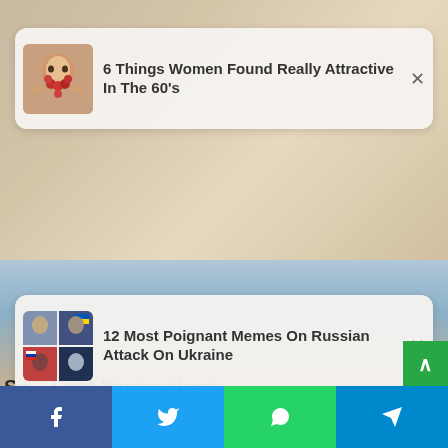[Figure (screenshot): Ad card 1: thumbnail of person with red flowers/beard, text '6 Things Women Found Really Attractive In The 60’s']
[Figure (screenshot): Ad card 2: collage thumbnail of men, text '12 Most Poignant Memes On Russian Attack On Ukraine']
So... First Impressions Are Terrible! Funniest Rom Com Pairs
HERBEAUTY
[Figure (photo): Bottom half background photo of a blonde woman and a brown-haired man outdoors]
Facebook share | Twitter share | WhatsApp share | Telegram share